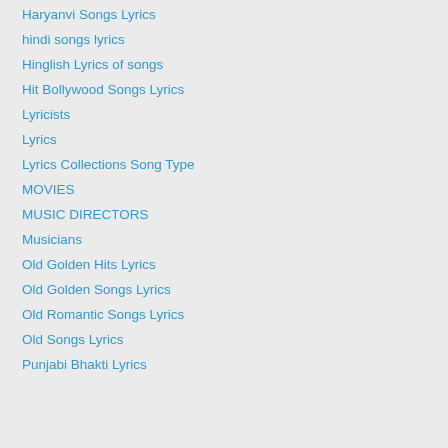Haryanvi Songs Lyrics
hindi songs lyrics
Hinglish Lyrics of songs
Hit Bollywood Songs Lyrics
Lyricists
Lyrics
Lyrics Collections Song Type
MOVIES
MUSIC DIRECTORS
Musicians
Old Golden Hits Lyrics
Old Golden Songs Lyrics
Old Romantic Songs Lyrics
Old Songs Lyrics
Punjabi Bhakti Lyrics